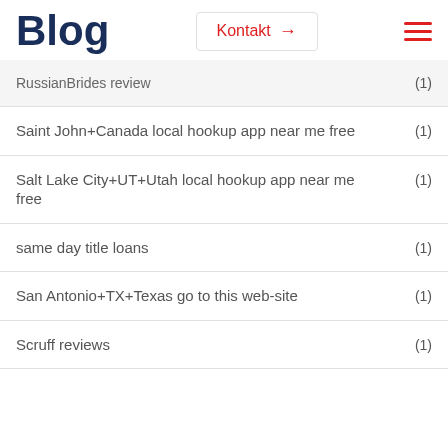Blog | Kontakt →
RussianBrides review (1)
Saint John+Canada local hookup app near me free (1)
Salt Lake City+UT+Utah local hookup app near me free (1)
same day title loans (1)
San Antonio+TX+Texas go to this web-site (1)
Scruff reviews (1)